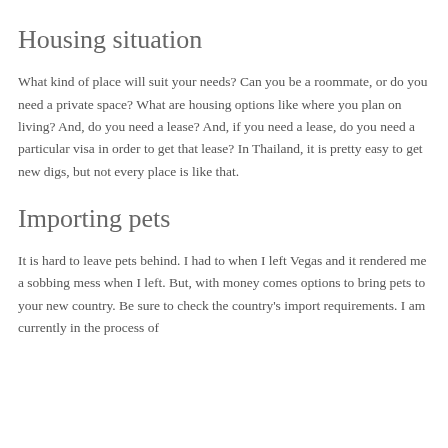charged a whopping $9.5SB to get it from the post office. So, plan ahead for items you may want.
Housing situation
What kind of place will suit your needs? Can you be a roommate, or do you need a private space? What are housing options like where you plan on living? And, do you need a lease? And, if you need a lease, do you need a particular visa in order to get that lease? In Thailand, it is pretty easy to get new digs, but not every place is like that.
Importing pets
It is hard to leave pets behind. I had to when I left Vegas and it rendered me a sobbing mess when I left. But, with money comes options to bring pets to your new country. Be sure to check the country's import requirements. I am currently in the process of